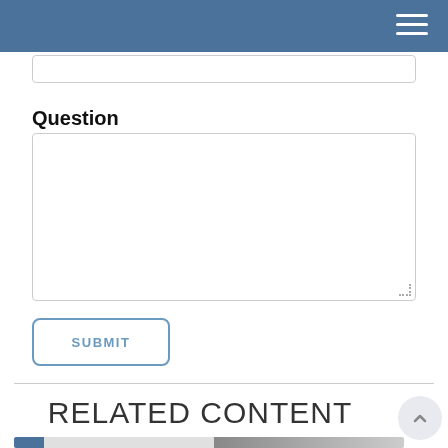Question
SUBMIT
RELATED CONTENT